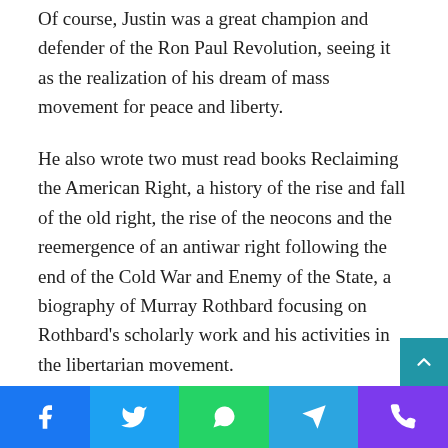Of course, Justin was a great champion and defender of the Ron Paul Revolution, seeing it as the realization of his dream of mass movement for peace and liberty.
He also wrote two must read books Reclaiming the American Right, a history of the rise and fall of the old right, the rise of the neocons and the reemergence of an antiwar right following the end of the Cold War and Enemy of the State, a biography of Murray Rothbard focusing on Rothbard's scholarly work and his activities in the libertarian movement.
You can buy Reclaiming the American Right here and Enemy of the State here.
Justin saw education and activism as necessary
[Figure (infographic): Social share bar at the bottom with icons for Facebook (blue), Twitter (light blue), WhatsApp (green), Telegram (blue), and phone/viber (purple). A scroll-to-top button (teal) is positioned above the bar on the right side.]